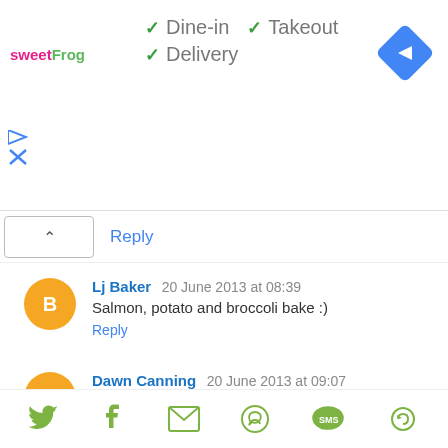[Figure (screenshot): sweetFrog logo with pink and green text]
✓ Dine-in  ✓ Takeout  ✓ Delivery
[Figure (illustration): Blue diamond navigation icon with white arrow]
^ Reply
Lj Baker  20 June 2013 at 08:39
Salmon, potato and broccoli bake :)
Reply
Dawn Canning  20 June 2013 at 09:07
Sorry for being sooo predictable, but it's got to be chips!
Reply
[Figure (infographic): Social sharing icons row: Twitter, Facebook, Email, WhatsApp, SMS, other]